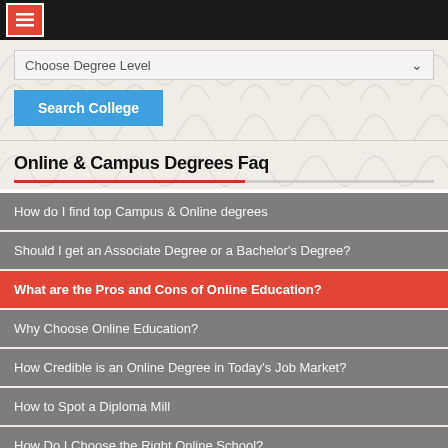Menu header bar with hamburger icon
Choose Degree Level
Search College
Online & Campus Degrees Faq
How do I find top Campus & Online degrees
Should I get an Associate Degree or a Bachelor's Degree?
What are the Pros and Cons of Online Education?
Why Choose Online Education?
How Credible is an Online Degree in Today's Job Market?
How to Spot a Diploma Mill
How Do I Choose the Right Online School?